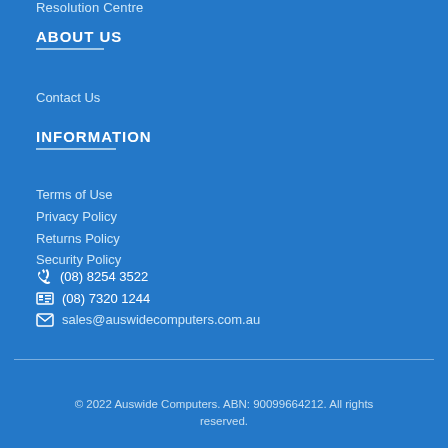Resolution Centre
ABOUT US
Contact Us
INFORMATION
Terms of Use
Privacy Policy
Returns Policy
Security Policy
(08) 8254 3522
(08) 7320 1244
sales@auswidecomputers.com.au
© 2022 Auswide Computers. ABN: 90099664212. All rights reserved.